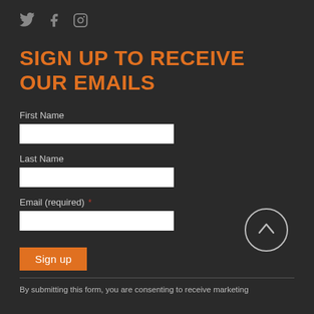[Figure (infographic): Social media icons: Twitter (bird), Facebook (f), Instagram (camera outline) in grey]
SIGN UP TO RECEIVE OUR EMAILS
First Name
Last Name
Email (required) *
Sign up
By submitting this form, you are consenting to receive marketing